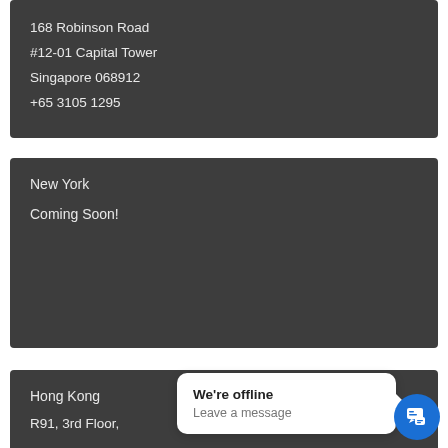168 Robinson Road
#12-01 Capital Tower
Singapore 068912
+65 3105 1295
New York
Coming Soon!
Hong Kong
R91, 3rd Floor,
We're offline
Leave a message